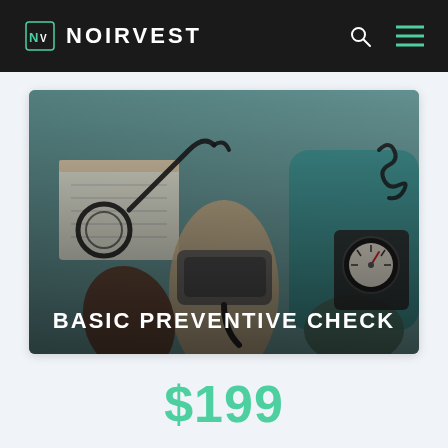NOIRVEST
[Figure (photo): Overhead view of a blood pressure measurement being taken, with a stethoscope and blood pressure gauge visible on a teal surface. Text overlay reads BASIC PREVENTIVE CHECK.]
$199